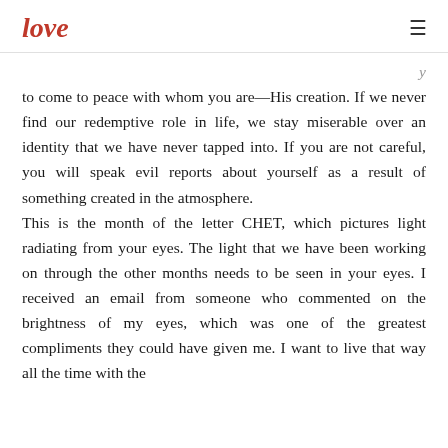love
to come to peace with whom you are—His creation. If we never find our redemptive role in life, we stay miserable over an identity that we have never tapped into. If you are not careful, you will speak evil reports about yourself as a result of something created in the atmosphere.
This is the month of the letter CHET, which pictures light radiating from your eyes. The light that we have been working on through the other months needs to be seen in your eyes. I received an email from someone who commented on the brightness of my eyes, which was one of the greatest compliments they could have given me. I want to live that way all the time with the